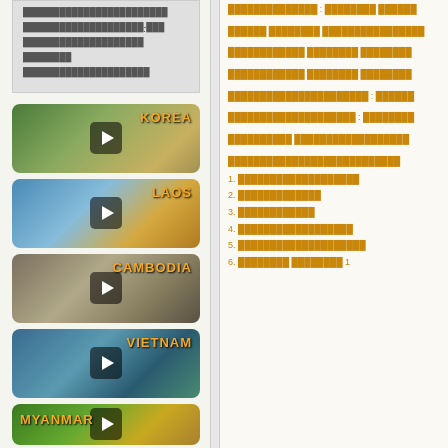Sidebar menu with Thai-script links (navigation links in a gray box)
[Figure (photo): Video thumbnail for KOREA showing traditional Korean palace with people in hanbok]
[Figure (photo): Video thumbnail for LAOS showing golden temple stupa with blue sky]
[Figure (photo): Video thumbnail for CAMBODIA showing Angkor Wat temple ruins]
[Figure (photo): Video thumbnail for VIETNAM showing boats on water with green scenery]
[Figure (photo): Video thumbnail for MYANMAR showing golden rock pagoda with palm trees]
Thai script link: ???????????? : ???????? ??????
Thai script link: ?????? ???????? ????????????????
Thai script link: ???????????? ???????? ????????
Thai script link: ???????????? ???????? ????????
Thai script link: ???????????????????????????????? : ??????
Thai script link: ???????????????????? : ????????
Thai script link: ?????????? ??????????????????
Thai script section header
1. Thai script item 1
2. Thai script item 2
3. Thai script item 3
4. Thai script item 4
5. Thai script item 5
6. Thai script item 6 1